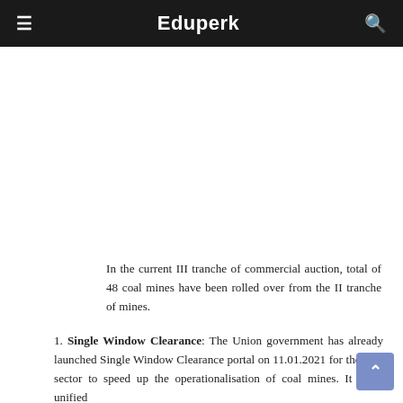≡  Eduperk  🔍
In the current III tranche of commercial auction, total of 48 coal mines have been rolled over from the II tranche of mines.
1. Single Window Clearance: The Union government has already launched Single Window Clearance portal on 11.01.2021 for the coal sector to speed up the operationalisation of coal mines. It is an unified